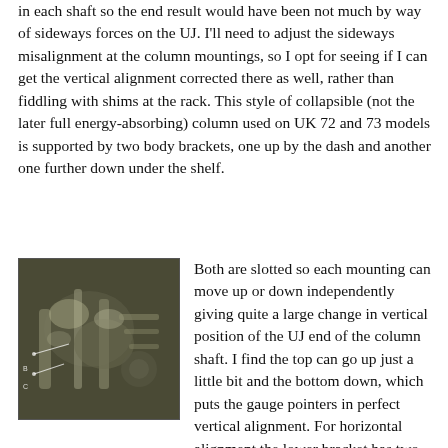in each shaft so the end result would have been not much by way of sideways forces on the UJ. I'll need to adjust the sideways misalignment at the column mountings, so I opt for seeing if I can get the vertical alignment corrected there as well, rather than fiddling with shims at the rack. This style of collapsible (not the later full energy-absorbing) column used on UK 72 and 73 models is supported by two body brackets, one up by the dash and another one further down under the shelf.
[Figure (photo): A photograph showing mechanical components, likely a steering column area with brackets and shafts visible, set against a dark background.]
Both are slotted so each mounting can move up or down independently giving quite a large change in vertical position of the UJ end of the column shaft. I find the top can go up just a little bit and the bottom down, which puts the gauge pointers in perfect vertical alignment. For horizontal alignment the lower bracket has two bolts up through the heater shelf (with support clips for brake and clutch pipes